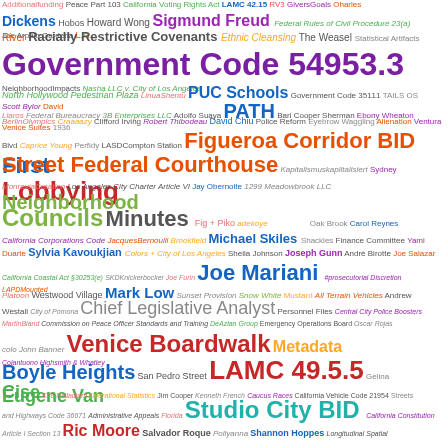[Figure (infographic): Word cloud containing government, legal, and political terms in various colors and font sizes. Prominent terms include: Government Code 54953.3, Figueroa Corridor BID, First Street Federal Courthouse, Lobbying, Neighborhood Councils, Minutes, Joe Mariani, Chief Legislative Analyst, Venice Boardwalk, Boyle Heights, LAMC 49.5.5, Eugene Van Cise, Studio City BID, Ric Moore, and many others.]